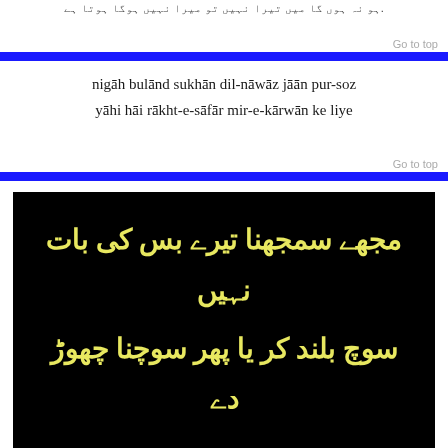ہو نہ ہوں گا میں تیرا نہیں تو میرا نہیں ہوگا ہوتا ہے.
Go to top
nigāh bulānd sukhān dil-nāwāz jāān pur-soz
yāhi hāi rākht-e-sāfār mir-e-kārwān ke liye
Go to top
[Figure (photo): Black background image with yellow Urdu calligraphic text reading: مجھے سمجھنا تیرے بس کی بات نہیں / سوچ بلند کر یا پھر سوچنا چھوڑ دے]